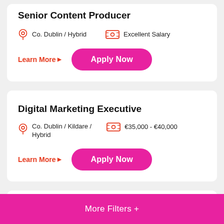Senior Content Producer
Co. Dublin / Hybrid
Excellent Salary
Learn More
Apply Now
Digital Marketing Executive
Co. Dublin / Kildare / Hybrid
€35,000 - €40,000
Learn More
Apply Now
More Filters +